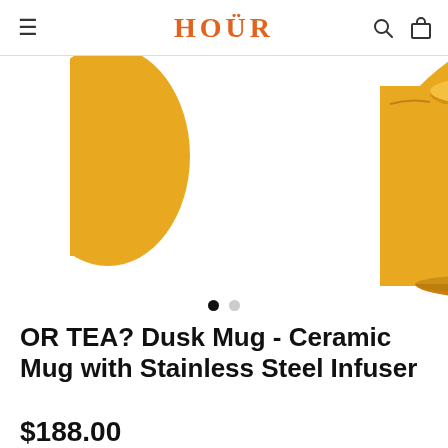HOÜR
[Figure (photo): Yellow/orange ceramic mug with illustrated pin-up style figures on it, partially cropped, showing the top and side of the mug on a white background]
OR TEA? Dusk Mug - Ceramic Mug with Stainless Steel Infuser
$188.00